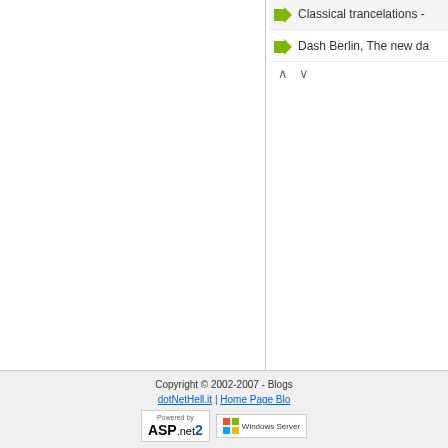Classical trancelations -
Dash Berlin, The new da
Copyright © 2002-2007 - Blogs... dotNetHell.it | Home Page Blo...